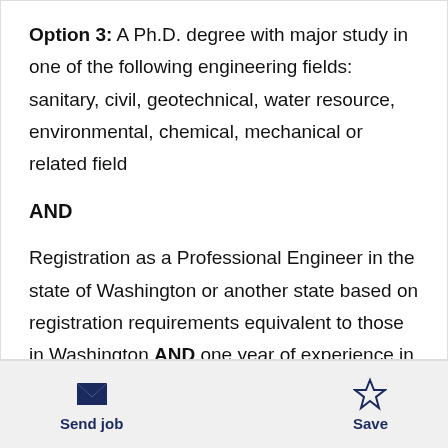Option 3: A Ph.D. degree with major study in one of the following engineering fields: sanitary, civil, geotechnical, water resource, environmental, chemical, mechanical or related field
AND
Registration as a Professional Engineer in the state of Washington or another state based on registration requirements equivalent to those in Washington AND one year of experience in
Send job   Save